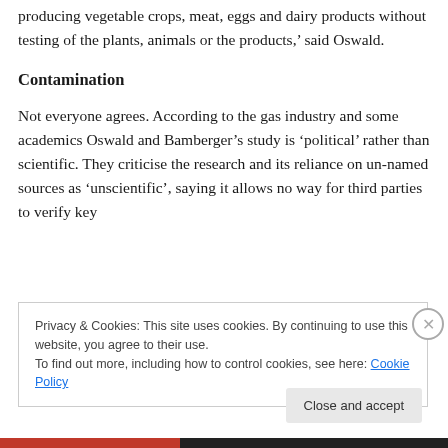producing vegetable crops, meat, eggs and dairy products without testing of the plants, animals or the products,' said Oswald.
Contamination
Not everyone agrees. According to the gas industry and some academics Oswald and Bamberger’s study is ‘political’ rather than scientific. They criticise the research and its reliance on un-named sources as ‘unscientific’, saying it allows no way for third parties to verify key
Privacy & Cookies: This site uses cookies. By continuing to use this website, you agree to their use.
To find out more, including how to control cookies, see here: Cookie Policy
Close and accept